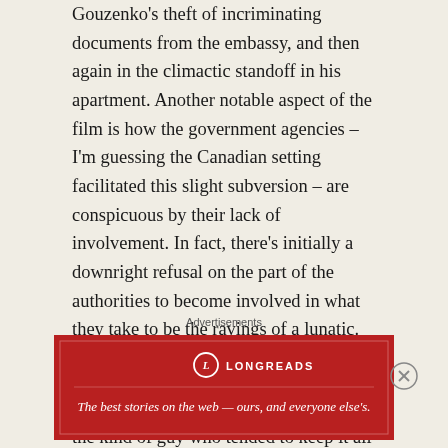Gouzenko's theft of incriminating documents from the embassy, and then again in the climactic standoff in his apartment. Another notable aspect of the film is how the government agencies – I'm guessing the Canadian setting facilitated this slight subversion – are conspicuous by their lack of involvement. In fact, there's initially a downright refusal on the part of the authorities to become involved in what they take to be the ravings of a lunatic.
Dana Andrews was never one of the most emotive or demonstrative of actors, the kind of guy who tended to keep it all inside and bottled up. Such characteristics can unfairly lead to accusations of woodenness when the
Advertisements
[Figure (other): Longreads advertisement banner in dark red with logo and tagline: The best stories on the web — ours, and everyone else's.]